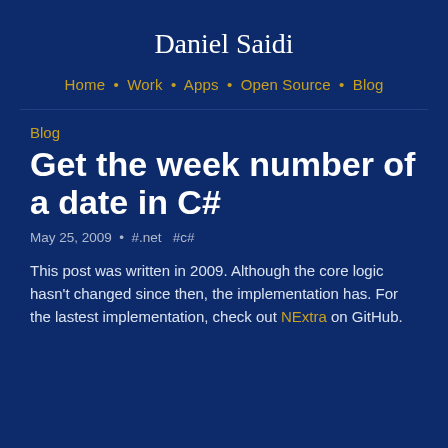Daniel Saidi
Home • Work • Apps • Open Source • Blog
Blog
Get the week number of a date in C#
May 25, 2009  •  #.net   #c#
This post was written in 2009. Although the core logic hasn't changed since then, the implementation has. For the lastest implementation, check out NExtra on GitHub.